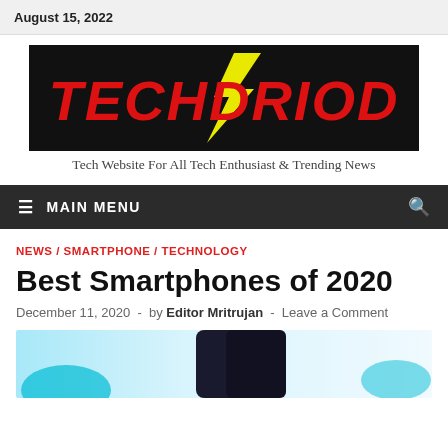August 15, 2022
[Figure (logo): TECHDRIOD logo - black background with yellow lightning bolt and red bold italic text]
Tech Website For All Tech Enthusiast & Trending News
≡  MAIN MENU
NEWS / SMARTPHONE / TECHNOLOGY
Best Smartphones of 2020
December 11, 2020  -  by Editor Mritrujan  -  Leave a Comment
[Figure (photo): Partial photo of smartphones on a light blue and white background]